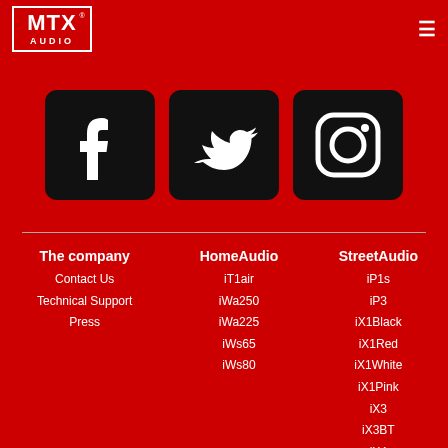MTX Audio
[Figure (logo): Facebook logo icon - white F on black square with rounded corners]
[Figure (logo): Twitter logo icon - white bird on black square with rounded corners]
[Figure (logo): Instagram logo icon - white camera outline on black square with rounded corners]
The company
Contact Us
Technical Support
Press
HomeAudio
iT1air
iWa250
iWa225
iWs65
iWs80
StreetAudio
iP1s
iP3
iX1Black
iX1Red
iX1White
iX1Pink
iX3
iX3BT
iX4
iX4BT